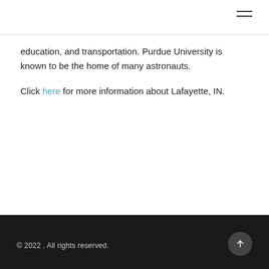education, and transportation. Purdue University is known to be the home of many astronauts.
Click here for more information about Lafayette, IN.
© 2022 . All rights reserved.